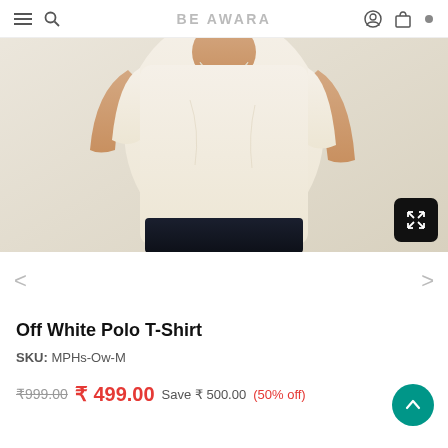BE AWARA
[Figure (photo): Man wearing an off-white cream polo t-shirt, cropped to show torso and arms, on a light beige background. Expand icon in bottom-right corner.]
Off White Polo T-Shirt
SKU: MPHs-Ow-M
₹999.00  ₹ 499.00  Save ₹ 500.00 (50% off)